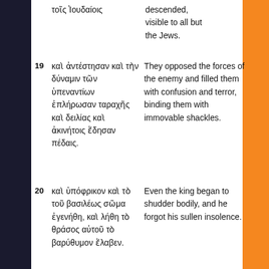τοῖς Ἰουδαίοις | descended, visible to all but the Jews.
19 καὶ ἀντέστησαν καὶ τὴν δύναμιν τῶν ὑπεναντίων ἐπλήρωσαν ταραχῆς καὶ δειλίας καὶ ἀκινήτοις ἔδησαν πέδαις. | They opposed the forces of the enemy and filled them with confusion and terror, binding them with immovable shackles.
20 καὶ ὑπόφρικον καὶ τὸ τοῦ βασιλέως σῶμα ἐγενήθη, καὶ λήθη τὸ θράσος αὐτοῦ τὸ βαρύθυμον ἔλαβεν. | Even the king began to shudder bodily, and he forgot his sullen insolence.